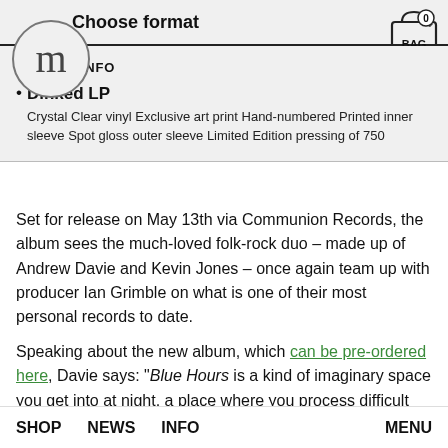Choose format
[Figure (logo): Circle logo with lowercase letter m]
[Figure (illustration): Shopping bag icon with number 0 and label BAG]
FORMAT INFO
Dinked LP — Crystal Clear vinyl Exclusive art print Hand-numbered Printed inner sleeve Spot gloss outer sleeve Limited Edition pressing of 750
Set for release on May 13th via Communion Records, the album sees the much-loved folk-rock duo – made up of Andrew Davie and Kevin Jones – once again team up with producer Ian Grimble on what is one of their most personal records to date.
Speaking about the new album, which can be pre-ordered here, Davie says: "Blue Hours is a kind of imaginary space you get into at night, a place where you process difficult things or where you try to figure everything out."
SHOP  NEWS  INFO  MENU